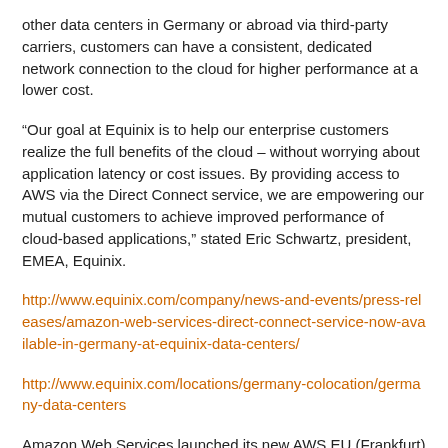other data centers in Germany or abroad via third-party carriers, customers can have a consistent, dedicated network connection to the cloud for higher performance at a lower cost.
“Our goal at Equinix is to help our enterprise customers realize the full benefits of the cloud – without worrying about application latency or cost issues. By providing access to AWS via the Direct Connect service, we are empowering our mutual customers to achieve improved performance of cloud-based applications,” stated Eric Schwartz, president, EMEA, Equinix.
http://www.equinix.com/company/news-and-events/press-releases/amazon-web-services-direct-connect-service-now-available-in-germany-at-equinix-data-centers/
http://www.equinix.com/locations/germany-colocation/germany-data-centers
Amazon Web Services launched its new AWS EU (Frankfurt) region, its 11th technology infrastructure region globally for AWS and the second region in the